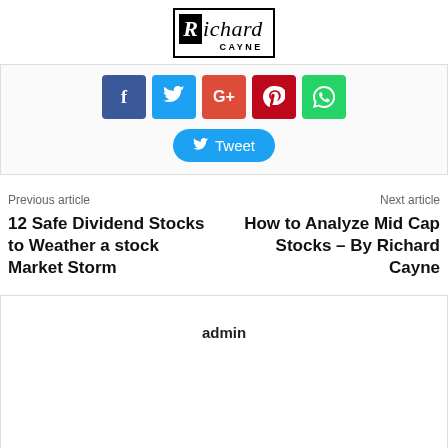Richard Cayne
[Figure (other): Social share buttons: Facebook, Twitter, Google+, Pinterest, WhatsApp icons, and a Tweet button]
Previous article
Next article
12 Safe Dividend Stocks to Weather a stock Market Storm
How to Analyze Mid Cap Stocks – By Richard Cayne
admin